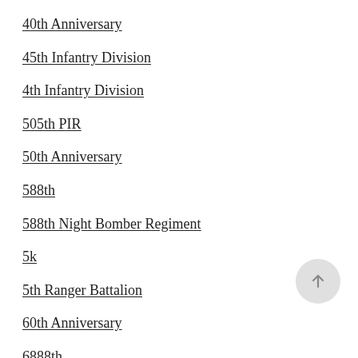40th Anniversary
45th Infantry Division
4th Infantry Division
505th PIR
50th Anniversary
588th
588th Night Bomber Regiment
5k
5th Ranger Battalion
60th Anniversary
6888th